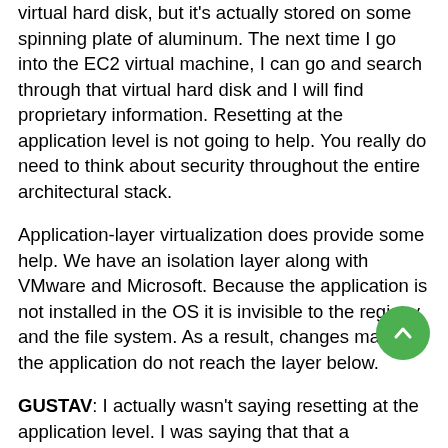virtual hard disk, but it's actually stored on some spinning plate of aluminum. The next time I go into the EC2 virtual machine, I can go and search through that virtual hard disk and I will find proprietary information. Resetting at the application level is not going to help. You really do need to think about security throughout the entire architectural stack.
Application-layer virtualization does provide some help. We have an isolation layer along with VMware and Microsoft. Because the application is not installed in the OS it is invisible to the registry and the file system. As a result, changes made by the application do not reach the layer below.
GUSTAV: I actually wasn't saying resetting at the application level. I was saying that that a hypervisor will be embedded in the binary for the browser that you run.
SIMON CROSBY: But even that wouldn't satisfy the guys at the NSA who want you to go and write zeroes to every sector on every disk. It won't solve the problem, which is that you essentially want to wipe the fact that you